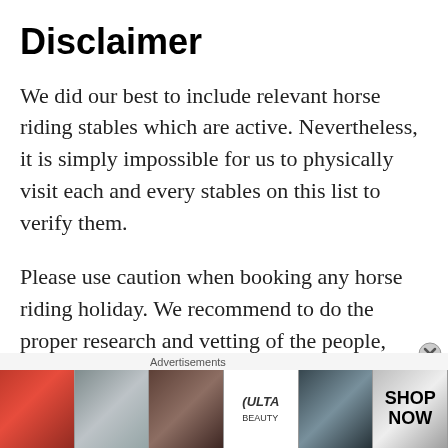Disclaimer
We did our best to include relevant horse riding stables which are active. Nevertheless, it is simply impossible for us to physically visit each and every stables on this list to verify them.
Please use caution when booking any horse riding holiday. We recommend to do the proper research and vetting of the people, horse care and accommodations.
In the catalog each listing contains a website link of stables in each country (or a facebook page link). It is
[Figure (other): Ulta Beauty advertisement banner with makeup imagery, showing lips, makeup brush, eye close-up, Ulta logo, eye close-up, and SHOP NOW text]
Advertisements